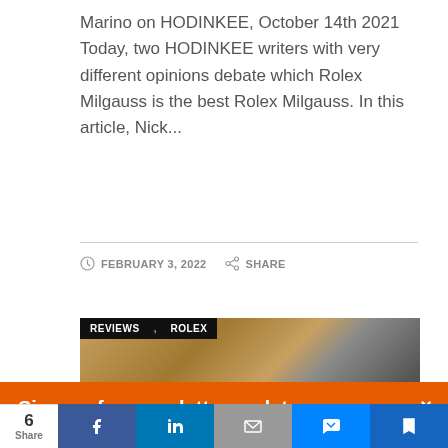Marino on HODINKEE, October 14th 2021 Today, two HODINKEE writers with very different opinions debate which Rolex Milgauss is the best Rolex Milgauss. In this article, Nick...
FEBRUARY 3, 2022   SHARE
[Figure (photo): Photo of a person wearing a Rolex Milgauss watch on their wrist, wearing an orange/mustard knit sweater, with tags REVIEWS, ROLEX overlaid in black at top left.]
Sign up for newsletter updates
Want to be in the know about our new blogs? Sign up now!